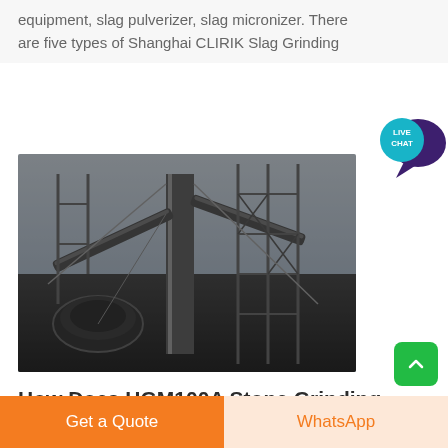equipment, slag pulverizer, slag micronizer. There are five types of Shanghai CLIRIK Slag Grinding
[Figure (photo): Aerial view of industrial stone grinding or slag processing machinery and equipment facility, showing conveyor belts, crushers, and heavy industrial infrastructure.]
How Does HGM100A Stone Grinding Machine Work
Get a Quote
WhatsApp